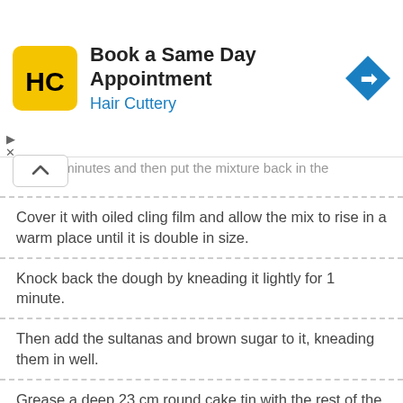[Figure (other): Hair Cuttery advertisement banner: 'Book a Same Day Appointment' with HC logo and navigation arrow icon]
for 5 minutes and then put the mixture back in the
Cover it with oiled cling film and allow the mix to rise in a warm place until it is double in size.
Knock back the dough by kneading it lightly for 1 minute.
Then add the sultanas and brown sugar to it, kneading them in well.
Grease a deep 23 cm round cake tin with the rest of the butter.
Shape the dough into a round ball and place it in the tin.
Allow the dough to rise for 30 minutes or until it has doubled in size.